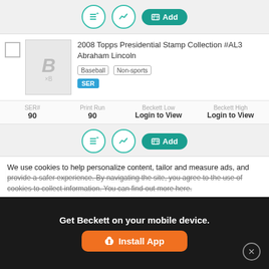[Figure (screenshot): Action bar with list icon, chart icon, and teal Add button]
2008 Topps Presidential Stamp Collection #AL3 Abraham Lincoln
Baseball  Non-sports  SER
SER# 90  Print Run 90  Beckett Low Login to View  Beckett High Login to View
[Figure (screenshot): Action bar with list icon, chart icon, and teal Add button]
2008 Topps Presidential Stamp Collection #AL4 Abraham Lincoln
Baseball  Non-sports  SER
SER# (partial)  Print Run (partial)  Beckett Low (partial)  Beckett High (partial)
We use cookies to help personalize content, tailor and measure ads, and provide a safer experience. By navigating the site, you agree to the use of cookies to collect information. You can find out more here.
Get Beckett on your mobile device.
Install App